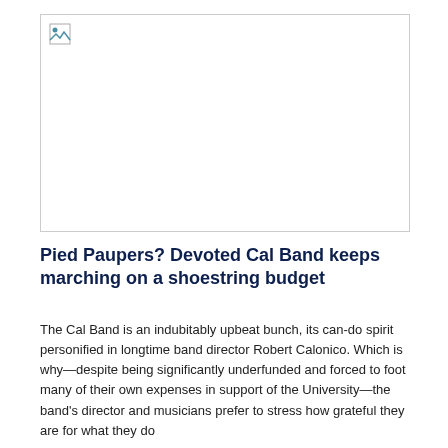[Figure (photo): A placeholder image box with a broken image icon in the upper-left corner, representing a photo related to the Cal Band article.]
Pied Paupers? Devoted Cal Band keeps marching on a shoestring budget
The Cal Band is an indubitably upbeat bunch, its can-do spirit personified in longtime band director Robert Calonico. Which is why—despite being significantly underfunded and forced to foot many of their own expenses in support of the University—the band's director and musicians prefer to stress how grateful they are for what they do